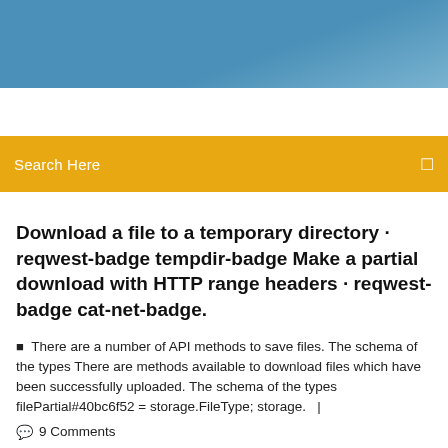[Figure (other): Blue gradient header banner at the top of the page]
Search Here
Download a file to a temporary directory · reqwest-badge tempdir-badge Make a partial download with HTTP range headers · reqwest-badge cat-net-badge.
There are a number of API methods to save files. The schema of the types There are methods available to download files which have been successfully uploaded. The schema of the types filePartial#40bc6f52 = storage.FileType; storage.   |
9 Comments